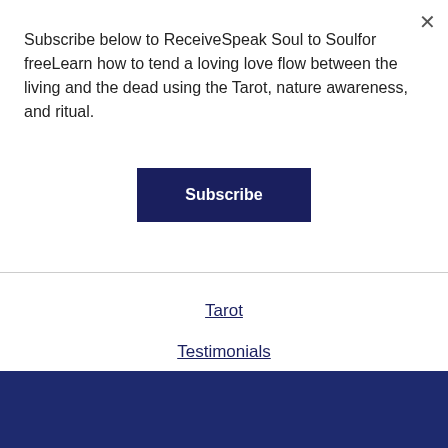× (close button)
Subscribe below to ReceiveSpeak Soul to Soulfor freeLearn how to tend a loving love flow between the living and the dead using the Tarot, nature awareness, and ritual.
Subscribe
Tarot
Testimonials
Weekly Practice
Wonderings
STAY CONNECTED
[Figure (infographic): Social media icons: email, Facebook, Instagram, Twitter in teal/white on dark navy background]